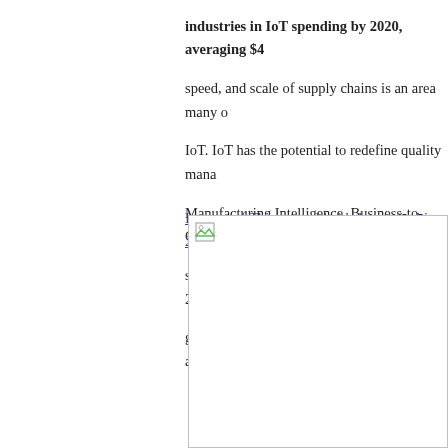industries in IoT spending by 2020, averaging $4... speed, and scale of supply chains is an area many o... IoT. IoT has the potential to redefine quality mana... Manufacturing Intelligence. Business-to-Consumer... spend $25B on IoT in 2020, up from $5B in 2015. global spending by vertical between 2015 and 2020...
Internet of Things worldwide by vertical in 2015 a...
[Figure (other): Placeholder image box with broken image icon in top-left corner, representing a chart of Internet of Things spending by vertical in 2015 and 2020.]